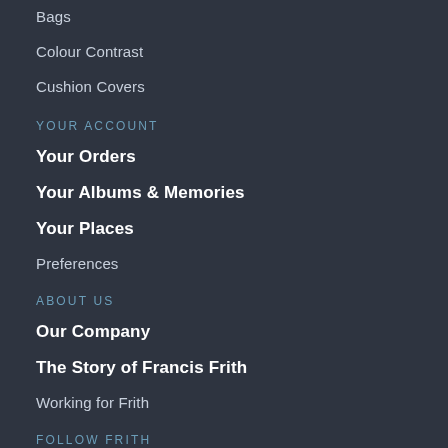Bags
Colour Contrast
Cushion Covers
YOUR ACCOUNT
Your Orders
Your Albums & Memories
Your Places
Preferences
ABOUT US
Our Company
The Story of Francis Frith
Working for Frith
FOLLOW FRITH
Twitter
Pinterest
Facebook